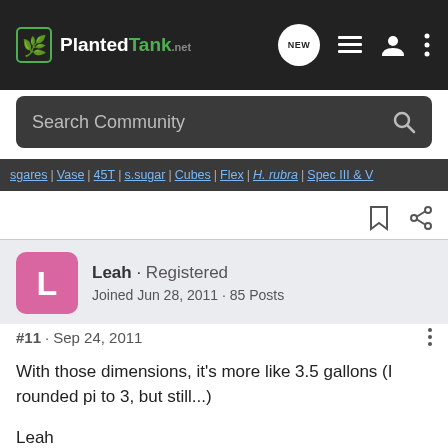PlantedTank
Search Community
sgares | Vase | 45T | s.sugar | Cubes | Flex | H. rubra | Spec III & V
Leah · Registered
Joined Jun 28, 2011 · 85 Posts
#11 · Sep 24, 2011
With those dimensions, it's more like 3.5 gallons (I rounded pi to 3, but still...)
Leah